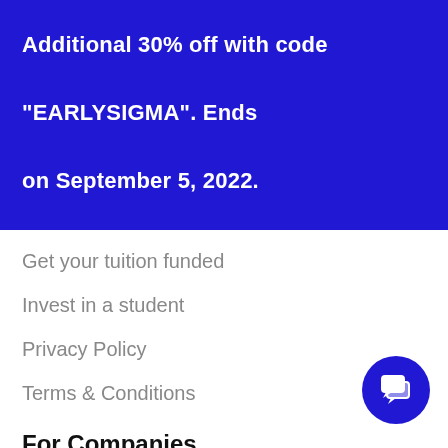Additional 30% off with code "EARLYSIGMA". Ends on September 5, 2022.
Get your tuition funded
Invest in a student
Privacy Policy
Terms & Conditions
For Companies
Sigma Labs
Hire our graduates